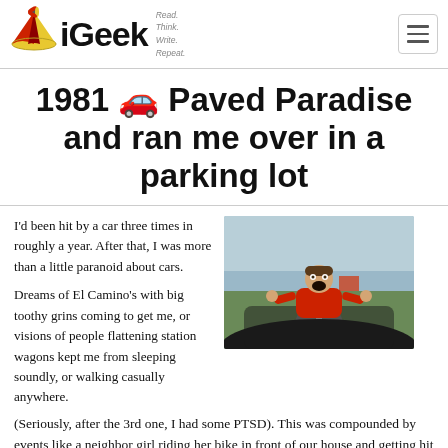iGeek — Read. Think. Write. Repeat.
1981 🚗 Paved Paradise and ran me over in a parking lot
I'd been hit by a car three times in roughly a year. After that, I was more than a little paranoid about cars.
[Figure (photo): A child in a red shirt screaming with mouth wide open, clinging to the hood/windshield of a moving car, seen from the driver's perspective through the windshield, with a highway and green landscape in the background.]
Dreams of El Camino's with big toothy grins coming to get me, or visions of people flattening station wagons kept me from sleeping soundly, or walking casually anywhere. (Seriously, after the 3rd one, I had some PTSD). This was compounded by events like a neighbor girl riding her bike in front of our house and getting hit much worse than I ever did: concussion, paramedics, internal